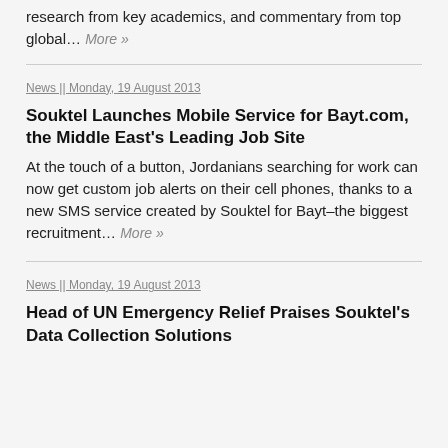research from key academics, and commentary from top global… More »
News || Monday, 19 August 2013
Souktel Launches Mobile Service for Bayt.com, the Middle East's Leading Job Site
At the touch of a button, Jordanians searching for work can now get custom job alerts on their cell phones, thanks to a new SMS service created by Souktel for Bayt–the biggest recruitment… More »
News || Monday, 19 August 2013
Head of UN Emergency Relief Praises Souktel's Data Collection Solutions